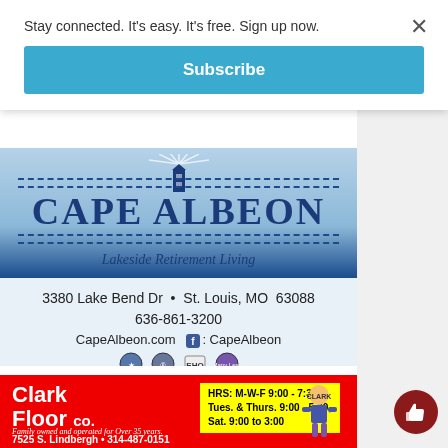Stay connected. It's easy. It's free. Sign up now.
Subscribe
[Figure (advertisement): Cape Albeon Lakeside Retirement Living advertisement with lighthouse logo, blue sky background. Address: 3380 Lake Bend Dr • St. Louis, MO 63088, Phone: 636-861-3200, Website: CapeAlbeon.com, Facebook: CapeAlbeon. Shows four certification/badge icons at the bottom.]
[Figure (advertisement): Clark Floor Co. advertisement on red background. Hours: M-W-F 9:00 - 7:30, Tues. & Thurs. 9:00 - 5:00, Sat. 9:00 to 3:00. Family owned and operated for Over 35 years. 7525 S. Lindbergh • 314-487-0151. Cartoon mascot figure shown.]